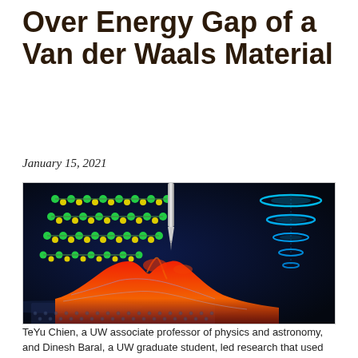Over Energy Gap of a Van der Waals Material
January 15, 2021
[Figure (illustration): Scientific illustration showing layered Van der Waals material (green and yellow atom clusters) with a scanning tunneling microscope tip probing from above, revealing an energy density map in red/orange on a graphene-like substrate, with blue quantum state rings on the right side against a dark blue background.]
TeYu Chien, a UW associate professor of physics and astronomy, and Dinesh Baral, a UW graduate student, led research that used scanning tunneling microscopy and spectroscopy measurements that